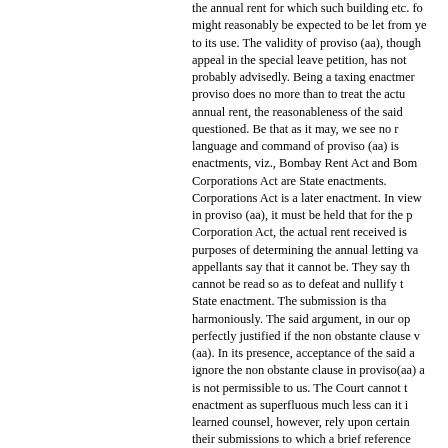the annual rent for which such building etc. for might reasonably be expected to be let from ye to its use. The validity of proviso (aa), though appeal in the special leave petition, has not probably advisedly. Being a taxing enactmer proviso does no more than to treat the actu annual rent, the reasonableness of the said questioned. Be that as it may, we see no r language and command of proviso (aa) is enactments, viz., Bombay Rent Act and Bom Corporations Act are State enactments. Corporations Act is a later enactment. In view in proviso (aa), it must be held that for the p Corporation Act, the actual rent received is purposes of determining the annual letting va appellants say that it cannot be. They say th cannot be read so as to defeat and nullify t State enactment. The submission is tha harmoniously. The said argument, in our op perfectly justified if the non obstante clause v (aa). In its presence, acceptance of the said a ignore the non obstante clause in proviso(aa) a is not permissible to us. The Court cannot t enactment as superfluous much less can it i learned counsel, however, rely upon certain their submissions to which a brief reference Accordingly, we hold that proviso (aa) means be applied and followed in the cases cover Municipal Corporations Act is concerned, the rent received where the standard rent is not f the Bombay Rent Act and it constitutes th